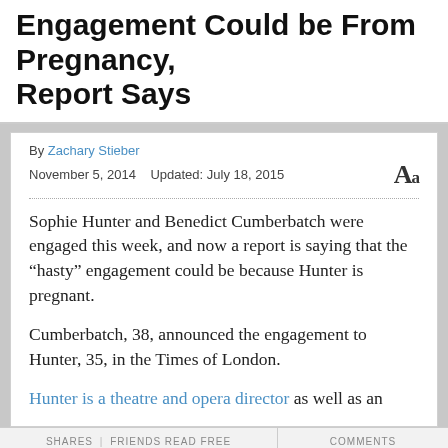Engagement Could be From Pregnancy, Report Says
By Zachary Stieber
November 5, 2014   Updated: July 18, 2015
Sophie Hunter and Benedict Cumberbatch were engaged this week, and now a report is saying that the “hasty” engagement could be because Hunter is pregnant.
Cumberbatch, 38, announced the engagement to Hunter, 35, in the Times of London.
Hunter is a theatre and opera director as well as an
SHARES | FRIENDS READ FREE   COMMENTS   Share   Email   Comment